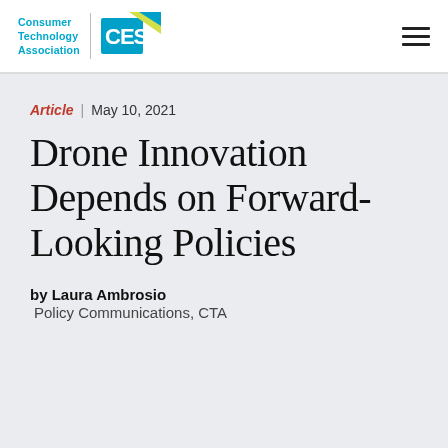Consumer Technology Association | CES
Article | May 10, 2021
Drone Innovation Depends on Forward-Looking Policies
by Laura Ambrosio
Policy Communications, CTA